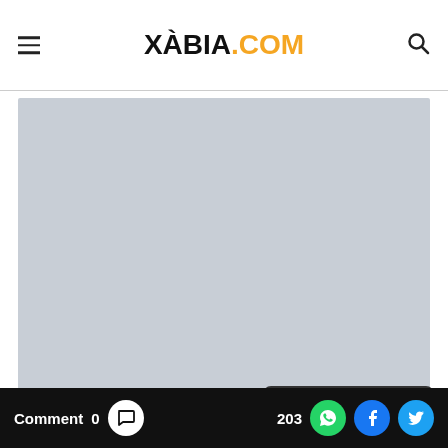XÀBIA.COM
[Figure (photo): Large placeholder/blank image area with light grey background, representing a photo on the Xabia.com website]
Euchar...
Comment 0  203